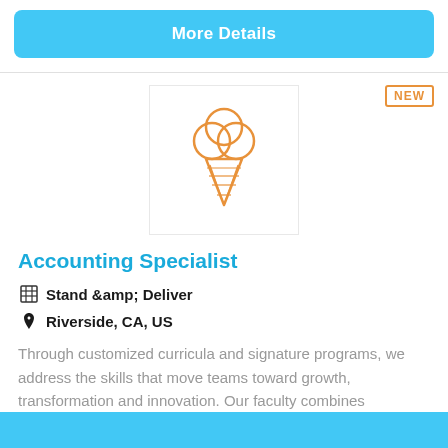More Details
[Figure (illustration): Ice cream cone icon in orange outline style]
Accounting Specialist
Stand &amp; Deliver
Riverside, CA, US
Through customized curricula and signature programs, we address the skills that move teams toward growth, transformation and innovation. Our faculty combines experience in business, education, arts an...